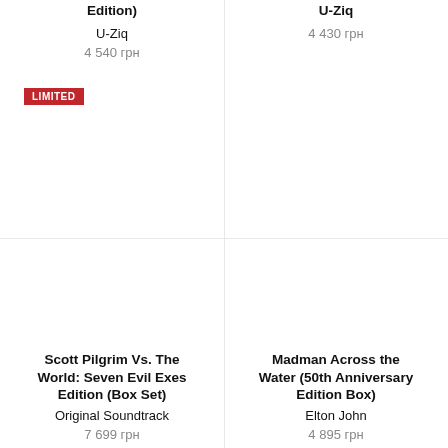Edition)
U-Ziq
4 540 грн
U-Ziq
4 430 грн
LIMITED
Scott Pilgrim Vs. The World: Seven Evil Exes Edition (Box Set)
Original Soundtrack
7 699 грн
Madman Across the Water (50th Anniversary Edition Box)
Elton John
4 895 грн